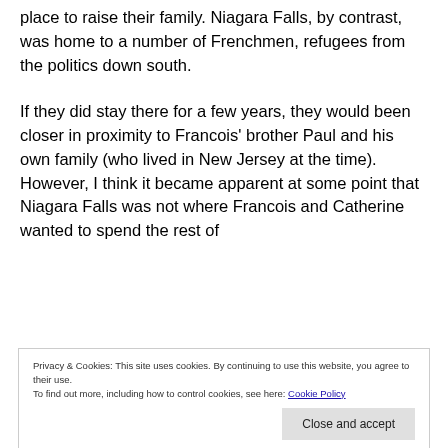place to raise their family. Niagara Falls, by contrast, was home to a number of Frenchmen, refugees from the politics down south.
If they did stay there for a few years, they would been closer in proximity to Francois' brother Paul and his own family (who lived in New Jersey at the time).  However, I think it became apparent at some point that Niagara Falls was not where Francois and Catherine wanted to spend the rest of
Privacy & Cookies: This site uses cookies. By continuing to use this website, you agree to their use.
To find out more, including how to control cookies, see here: Cookie Policy
Shortly after arriving in Orizaba, Catherine gave